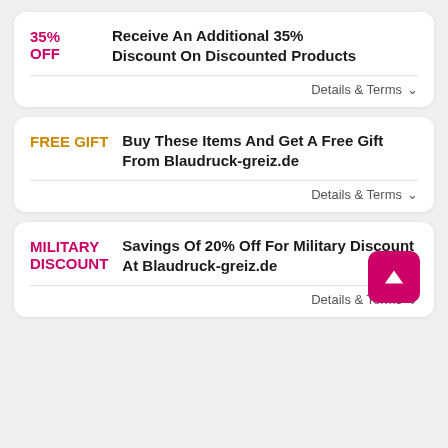35% OFF | Receive An Additional 35% Discount On Discounted Products | Details & Terms
FREE GIFT | Buy These Items And Get A Free Gift From Blaudruck-greiz.de | Details & Terms
MILITARY DISCOUNT | Savings Of 20% Off For Military Discount At Blaudruck-greiz.de | Details & Terms